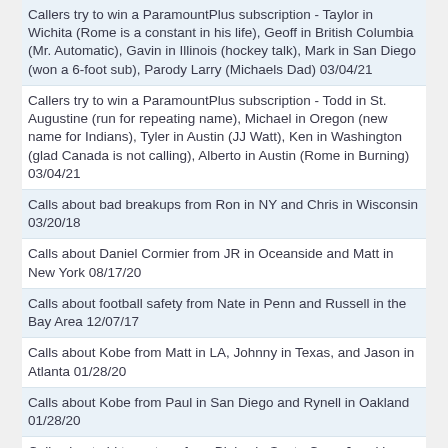Callers try to win a ParamountPlus subscription - Taylor in Wichita (Rome is a constant in his life), Geoff in British Columbia (Mr. Automatic), Gavin in Illinois (hockey talk), Mark in San Diego (won a 6-foot sub), Parody Larry (Michaels Dad) 03/04/21
Callers try to win a ParamountPlus subscription - Todd in St. Augustine (run for repeating name), Michael in Oregon (new name for Indians), Tyler in Austin (JJ Watt), Ken in Washington (glad Canada is not calling), Alberto in Austin (Rome in Burning) 03/04/21
Calls about bad breakups from Ron in NY and Chris in Wisconsin 03/20/18
Calls about Daniel Cormier from JR in Oceanside and Matt in New York 08/17/20
Calls about football safety from Nate in Penn and Russell in the Bay Area 12/07/17
Calls about Kobe from Matt in LA, Johnny in Texas, and Jason in Atlanta 01/28/20
Calls about Kobe from Paul in San Diego and Rynell in Oakland 01/28/20
Calls about old tour stops from Blaise in Santa Cruz, Jared in Wisconsin, Jake in Wisconsin, Reggie in San Diego, and Terry in Ventura 04/22/21
Calls and dad jokes from John in Tucson, Fabian in LA, Rusty in Kansas City, Mike in Phoenix, and Andi in Rocklin 12/22/20
Calls from Alan in Virginia and Don in Portland about the origins of 'Pimp in the Box', music chat from Ron in San Antonio 04/13/20
Calls from Alex in Cleveland and Gary in Ponoma 01/02/18
Calls from Barbara in South Carolina, Christina in Grand Rapids, and Jerome